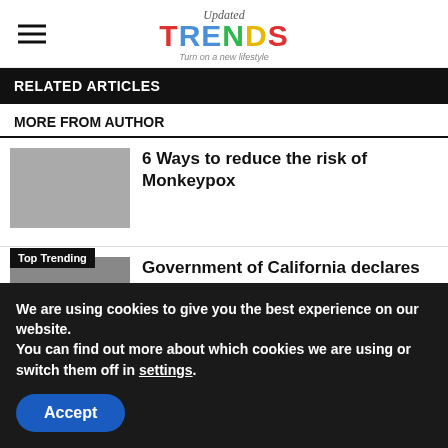Updated TRENDS – Turn on a new lifestyle
RELATED ARTICLES
MORE FROM AUTHOR
6 Ways to reduce the risk of Monkeypox
Government of California declares state of emergency with the spread of Monkeypox
We are using cookies to give you the best experience on our website.
You can find out more about which cookies we are using or switch them off in settings.
Accept